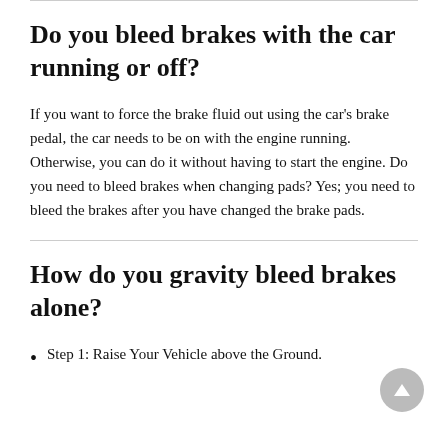Do you bleed brakes with the car running or off?
If you want to force the brake fluid out using the car's brake pedal, the car needs to be on with the engine running. Otherwise, you can do it without having to start the engine. Do you need to bleed brakes when changing pads? Yes; you need to bleed the brakes after you have changed the brake pads.
How do you gravity bleed brakes alone?
Step 1: Raise Your Vehicle above the Ground.